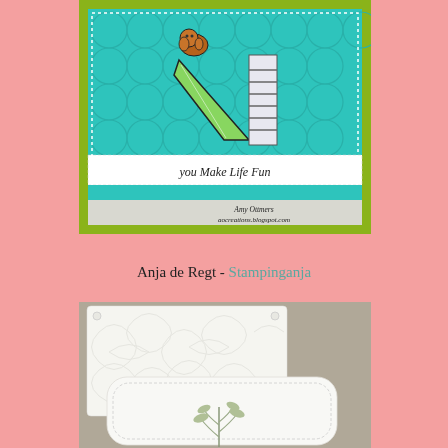[Figure (photo): A handmade greeting card with a yellow-green border and teal background with embossed circles. Features a illustrated dog at top of a green slide with ladder. A banner reads 'you Make Life Fun'. Credit: Amy Ottmers, aocreations.blogspot.com]
Anja de Regt - Stampinganja
[Figure (photo): A handmade card featuring white embossed floral texture panel layered on a gray/taupe background, with a lower white rounded-corner panel and a botanical sprig stamp.]